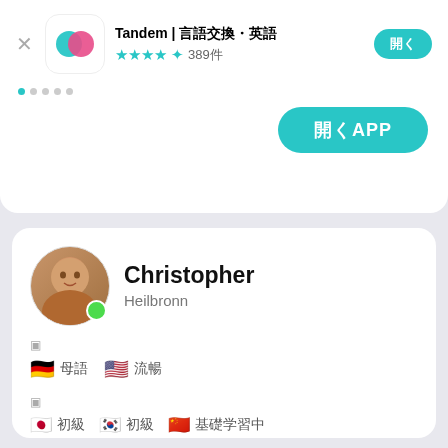[Figure (screenshot): App store listing for Tandem language exchange app showing icon, title with CJK characters, star rating (4.5 stars, 389 reviews), a teal get/open button, and a teal open APP button]
Tandem | 言語交換・英語
★★★★★ 389件
開APP
Christopher
Heilbronn
🇩🇪 母語　🇺🇸 流暢
🇯🇵 初級　🇰🇷 初級　🇨🇳 基礎学習中